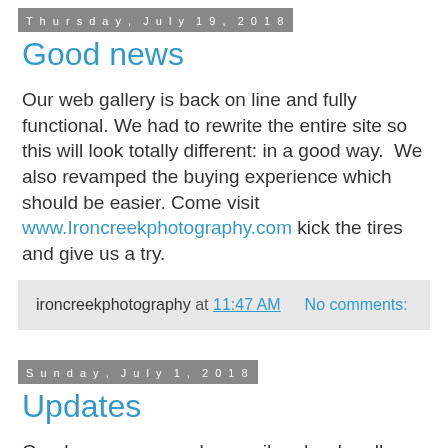Thursday, July 19, 2018
Good news
Our web gallery is back on line and fully functional. We had to rewrite the entire site so this will look totally different: in a good way.  We also revamped the buying experience which should be easier. Come visit www.Ironcreekphotography.com kick the tires and give us a try.
ironcreekphotography at 11:47 AM    No comments:
Sunday, July 1, 2018
Updates
Good news, our regular email and web gallery are both restored.  The web gallery had to be built from the ground up so while doing that we changed a few things to make it easier to navigate. Please visit and